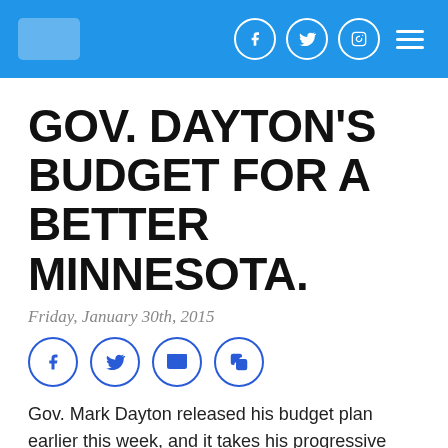Gov. Dayton's Budget For A Better Minnesota. — website header bar with social icons
GOV. DAYTON'S BUDGET FOR A BETTER MINNESOTA.
Friday, January 30th, 2015
[Figure (infographic): Row of four social sharing icon circles: Facebook, Twitter, Email, Copy/Share — in blue outline style]
Gov. Mark Dayton released his budget plan earlier this week, and it takes his progressive champion status to a whole new level.
In addition to a real, comprehensive transportation plan to